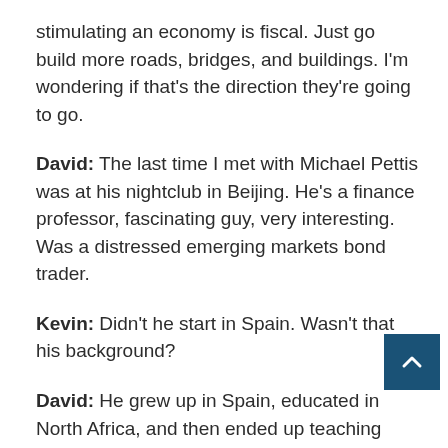stimulating an economy is fiscal. Just go build more roads, bridges, and buildings. I'm wondering if that's the direction they're going to go.
David: The last time I met with Michael Pettis was at his nightclub in Beijing. He's a finance professor, fascinating guy, very interesting. Was a distressed emerging markets bond trader.
Kevin: Didn't he start in Spain. Wasn't that his background?
David: He grew up in Spain, educated in North Africa, and then ended up teaching finance at Columbia after a again, of trading emerging market debt. So he's got a good combination of the practical aspects of market trading dynamics with–